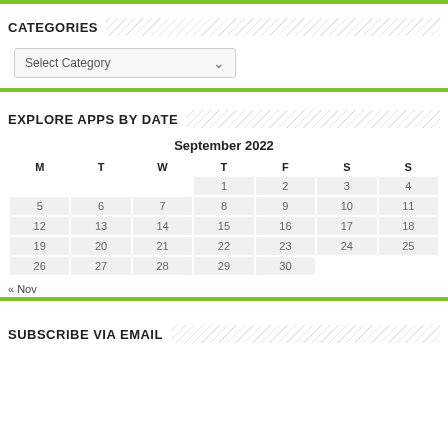CATEGORIES
Select Category
EXPLORE APPS BY DATE
| M | T | W | T | F | S | S |
| --- | --- | --- | --- | --- | --- | --- |
|  |  |  | 1 | 2 | 3 | 4 |
| 5 | 6 | 7 | 8 | 9 | 10 | 11 |
| 12 | 13 | 14 | 15 | 16 | 17 | 18 |
| 19 | 20 | 21 | 22 | 23 | 24 | 25 |
| 26 | 27 | 28 | 29 | 30 |  |  |
« Nov
SUBSCRIBE VIA EMAIL